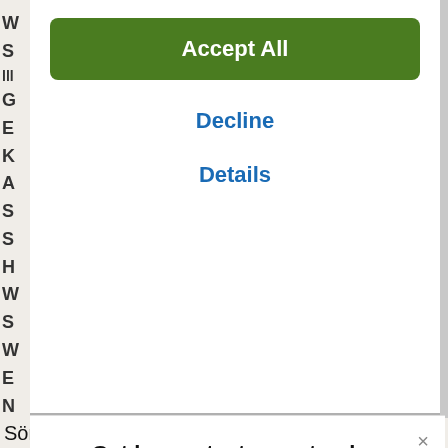[Figure (screenshot): Cookie consent modal with Accept All green button, Decline and Details blue links]
Get komoot, stay on track—however wild you go
With turn-by-turn voice navigation and offline maps, the komoot app will always keep your adventure on track, even when the internet's down or unreliable.
[Figure (logo): Download on the App Store badge]